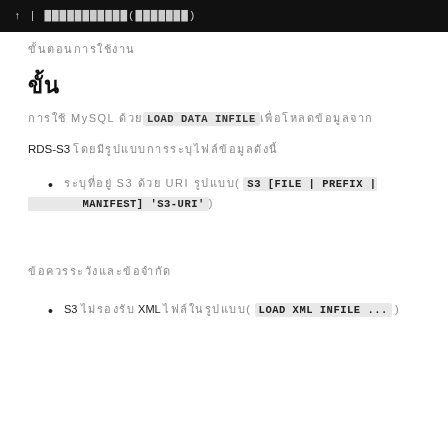[Figure (screenshot): Dark terminal/code bar at top of page with light text]
ขั้นตอนการใช้งาน
ขั้น
การใช้ MySQL ด้วย LOAD DATA INFILE เพื่อโหลดข้อมูลจาก
RDS-S3 โดยมีรูปแบบการระบุไฟล์ข้อมูลดังนี้
ระบุที่อยู่ S3 ด้วย URI รูปแบบ( S3 [FILE | PREFIX | MANIFEST] 'S3-URI' )
ข้อควรระวังและข้อจำกัด
S3 ไม่รองรับ XML ไฟล์ในรูปแบบ( LOAD XML INFILE ... )